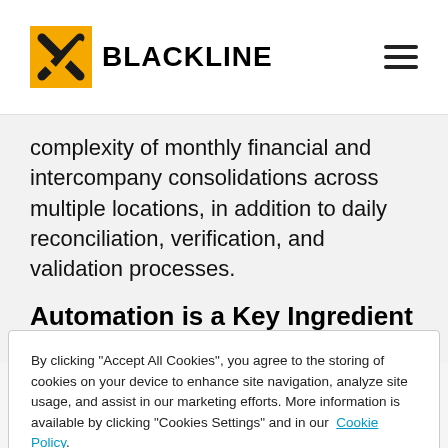BLACKLINE
complexity of monthly financial and intercompany consolidations across multiple locations, in addition to daily reconciliation, verification, and validation processes.
Automation is a Key Ingredient for
By clicking “Accept All Cookies”, you agree to the storing of cookies on your device to enhance site navigation, analyze site usage, and assist in our marketing efforts. More information is available by clicking “Cookies Settings” and in our Cookie Policy.
Cookies Settings | Accept All Cookies